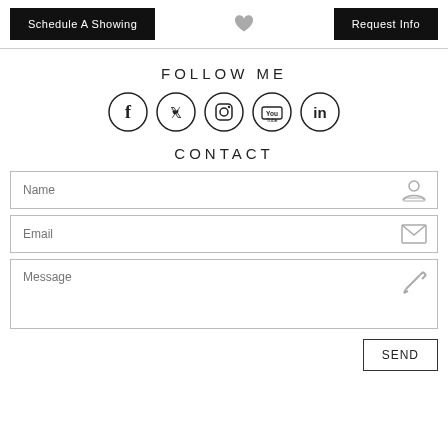[Figure (screenshot): Top navigation bar with 'Schedule A Showing' black button, heart icon, and 'Request Info' black button]
FOLLOW ME
[Figure (infographic): Row of 5 social media icons in circles: Facebook, Twitter, Instagram, YouTube, LinkedIn]
CONTACT
[Figure (screenshot): Contact form with Name field (person icon), Email field (envelope icon), Message textarea (pencil icon), and SEND button]